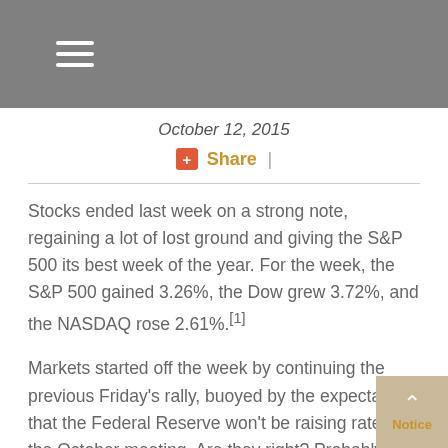October 12, 2015
+ Share |
Stocks ended last week on a strong note, regaining a lot of lost ground and giving the S&P 500 its best week of the year. For the week, the S&P 500 gained 3.26%, the Dow grew 3.72%, and the NASDAQ rose 2.61%.[1]
Markets started off the week by continuing the previous Friday's rally, buoyed by the expectation that the Federal Reserve won't be raising rates at the October meeting. Are they right? Probably.
The chart below shows the results of monthly surveys of professional economists by the Wall Street Journal. Notice how the responses have changed substantially over time.